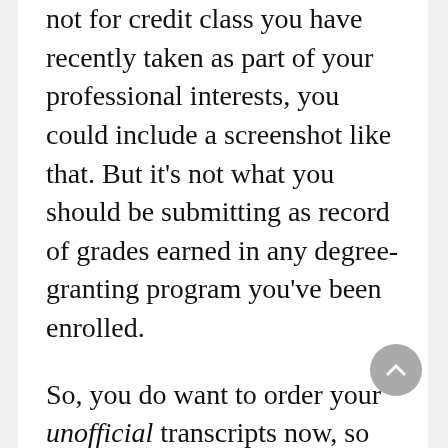not for credit class you have recently taken as part of your professional interests, you could include a screenshot like that. But it's not what you should be submitting as record of grades earned in any degree-granting program you've been enrolled.
So, you do want to order your unofficial transcripts now, so you can get them as a PDF and then upload them into your applications to each of these schools. You do not want to be sending official transcripts to the schools, because they don't want them now. They only want you to provide